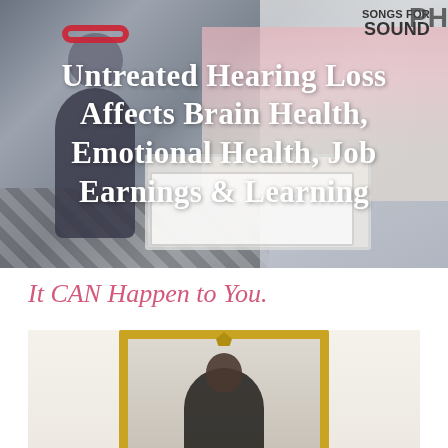[Figure (photo): A person wearing red headphones standing in a hearing health exhibit booth. Text 'Songs for Sound' visible on banner. Display stands and tablets visible in background.]
Untreated Hearing Loss Affects Brain Health, Emotional Health, Job Earnings & Learning
It CAN Happen to You.
[Figure (photo): A person looking at themselves in a gold-framed mirror.]